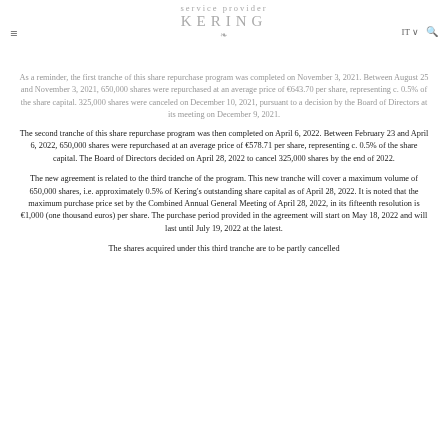service provider KERING
As a reminder, the first tranche of this share repurchase program was completed on November 3, 2021. Between August 25 and November 3, 2021, 650,000 shares were repurchased at an average price of €643.70 per share, representing c. 0.5% of the share capital. 325,000 shares were canceled on December 10, 2021, pursuant to a decision by the Board of Directors at its meeting on December 9, 2021.
The second tranche of this share repurchase program was then completed on April 6, 2022. Between February 23 and April 6, 2022, 650,000 shares were repurchased at an average price of €578.71 per share, representing c. 0.5% of the share capital. The Board of Directors decided on April 28, 2022 to cancel 325,000 shares by the end of 2022.
The new agreement is related to the third tranche of the program. This new tranche will cover a maximum volume of 650,000 shares, i.e. approximately 0.5% of Kering's outstanding share capital as of April 28, 2022. It is noted that the maximum purchase price set by the Combined Annual General Meeting of April 28, 2022, in its fifteenth resolution is €1,000 (one thousand euros) per share. The purchase period provided in the agreement will start on May 18, 2022 and will last until July 19, 2022 at the latest.
The shares acquired under this third tranche are to be partly cancelled